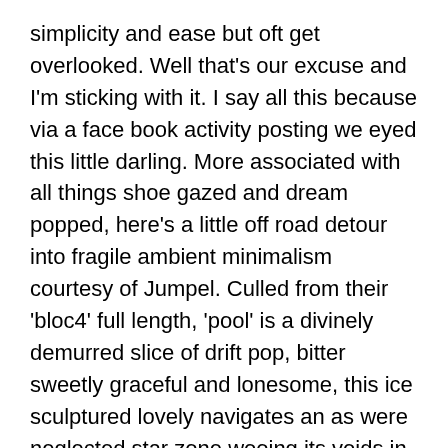simplicity and ease but oft get overlooked. Well that’s our excuse and I’m sticking with it. I say all this because via a face book activity posting we eyed this little darling. More associated with all things shoe gazed and dream popped, here’s a little off road detour into fragile ambient minimalism courtesy of Jumpel. Culled from their ‘bloc4’ full length, ‘pool’ is a divinely demurred slice of drift pop, bitter sweetly graceful and lonesome, this ice sculptured lovely navigates an as were neglected star zone wooing its voids in an somnambulant floorshow of serenely dinked vapour trails, utterly affectionate and elegiac in short. http://www.soundcloud.com/hidden_shoal/jumpel-pool
And back with Alrealon Musique, round about now there should be available to pick up a new album from PAS musique / band shifter, a 16 track tour document culling material collected on their interval and in April and M...